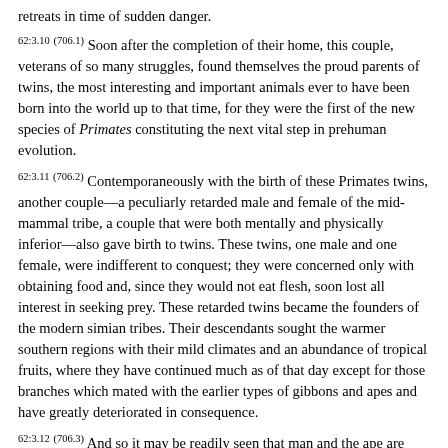retreats in time of sudden danger.
62:3.10 (706.1) Soon after the completion of their home, this couple, veterans of so many struggles, found themselves the proud parents of twins, the most interesting and important animals ever to have been born into the world up to that time, for they were the first of the new species of Primates constituting the next vital step in prehuman evolution.
62:3.11 (706.2) Contemporaneously with the birth of these Primates twins, another couple—a peculiarly retarded male and female of the mid-mammal tribe, a couple that were both mentally and physically inferior—also gave birth to twins. These twins, one male and one female, were indifferent to conquest; they were concerned only with obtaining food and, since they would not eat flesh, soon lost all interest in seeking prey. These retarded twins became the founders of the modern simian tribes. Their descendants sought the warmer southern regions with their mild climates and an abundance of tropical fruits, where they have continued much as of that day except for those branches which mated with the earlier types of gibbons and apes and have greatly deteriorated in consequence.
62:3.12 (706.3) And so it may be readily seen that man and the ape are related only in that they sprang from the mid-mammals, a tribe